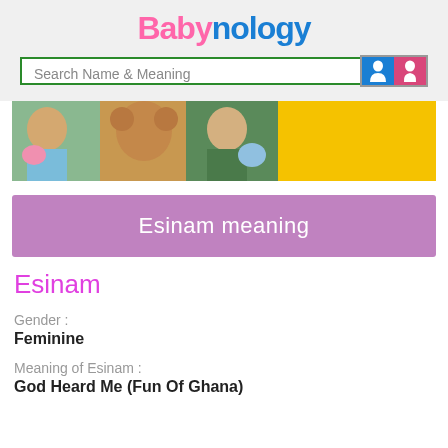Babynology
Search Name & Meaning
[Figure (photo): Banner photo of children with toys and a teddy bear, with a yellow panel on the right]
Esinam meaning
Esinam
Gender :
Feminine
Meaning of Esinam :
God Heard Me (Fun Of Ghana)